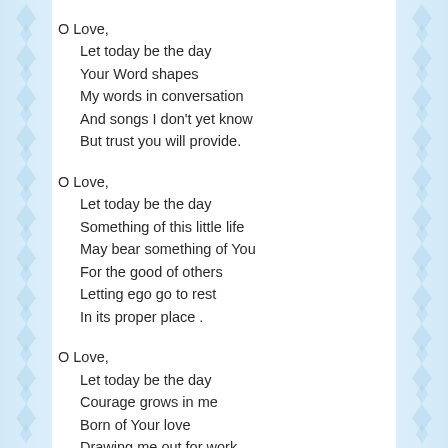O Love,
  Let today be the day
  Your Word shapes
  My words in conversation
  And songs I don't yet know
  But trust you will provide.
O Love,
  Let today be the day
  Something of this little life
  May bear something of You
  For the good of others
  Letting ego go to rest
  In its proper place .
O Love,
  Let today be the day
  Courage grows in me
  Born of Your love
  Drawing me out for work
  Always too large for me
  To do alone.